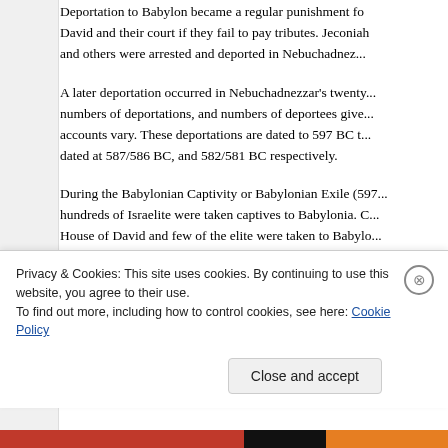Deportation to Babylon became a regular punishment fo... David and their court if they fail to pay tributes. Jeconiah and others were arrested and deported in Nebuchadnez...
A later deportation occurred in Nebuchadnezzar's twenty... numbers of deportations, and numbers of deportees give... accounts vary. These deportations are dated to 597 BC... dated at 587/586 BC, and 582/581 BC respectively.
During the Babylonian Captivity or Babylonian Exile (597... hundreds of Israelite were taken captives to Babylonia. C... House of David and few of the elite were taken to Babylo...
After recovering from the immediate impact of war, the Is...
Privacy & Cookies: This site uses cookies. By continuing to use this website, you agree to their use.
To find out more, including how to control cookies, see here: Cookie Policy